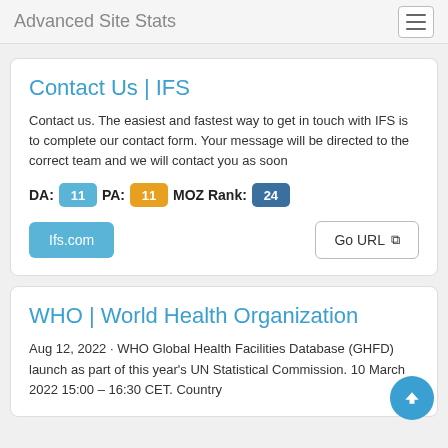Advanced Site Stats
Contact Us | IFS
Contact us. The easiest and fastest way to get in touch with IFS is to complete our contact form. Your message will be directed to the correct team and we will contact you as soon
DA: 11  PA: 11  MOZ Rank: 24
Ifs.com    Go URL
WHO | World Health Organization
Aug 12, 2022 · WHO Global Health Facilities Database (GHFD) launch as part of this year's UN Statistical Commission. 10 March 2022 15:00 – 16:30 CET. Country